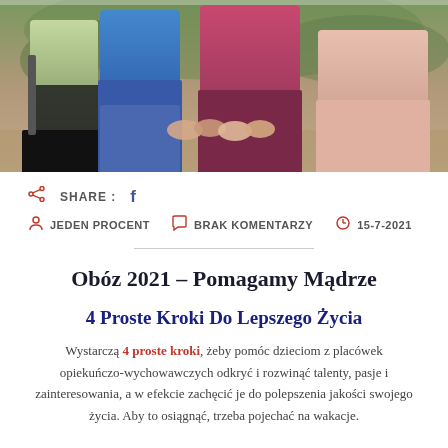[Figure (photo): Group of people holding hands outdoors, colorful clothing visible from waist down, natural background]
SHARE :  [Facebook icon]  JEDEN PROCENT  BRAK KOMENTARZY  15-7-2021
Obóz 2021 – Pomagamy Mądrze
4 Proste Kroki Do Lepszego Życia
Wystarczą 4 proste kroki, żeby pomóc dzieciom z placówek opiekuńczo-wychowawczych odkryć i rozwinąć talenty, pasje i zainteresowania, a w efekcie zachęcić je do polepszenia jakości swojego życia. Aby to osiągnąć, trzeba pojechać na wakacje.